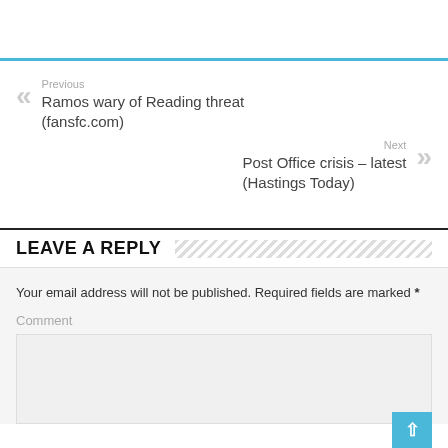Previous
Ramos wary of Reading threat (fansfc.com)
Next
Post Office crisis – latest (Hastings Today)
LEAVE A REPLY
Your email address will not be published. Required fields are marked *
Comment